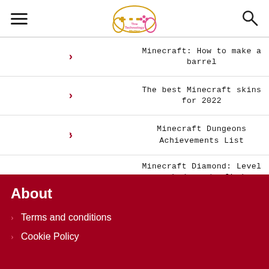The Technology Market — header with hamburger menu, logo, and search icon
Minecraft: How to make a barrel
The best Minecraft skins for 2022
Minecraft Dungeons Achievements List
Minecraft Diamond: Level and where to find Minecraft diamonds
About
Terms and conditions
Cookie Policy